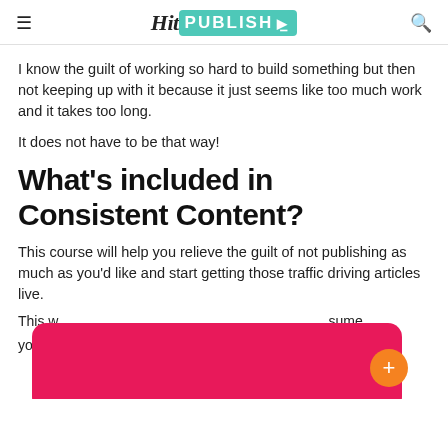Hit PUBLISH
I know the guilt of working so hard to build something but then not keeping up with it because it just seems like too much work and it takes too long.
It does not have to be that way!
What's included in Consistent Content?
This course will help you relieve the guilt of not publishing as much as you'd like and start getting those traffic driving articles live.
This w... sume you... ot